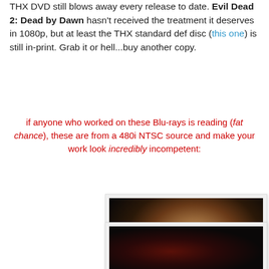THX DVD still blows away every release to date. Evil Dead 2: Dead by Dawn hasn't received the treatment it deserves in 1080p, but at least the THX standard def disc (this one) is still in-print. Grab it or hell...buy another copy.
if anyone who worked on these Blu-rays is reading (fat chance), these are from a 480i NTSC source and make your work look incredibly incompetent:
[Figure (photo): Close-up photo of a woman with curly hair, sweating, looking distressed, from a horror film scene (Evil Dead 2)]
[Figure (photo): Dark horror film still showing a bloody, grotesque face or creature close-up]